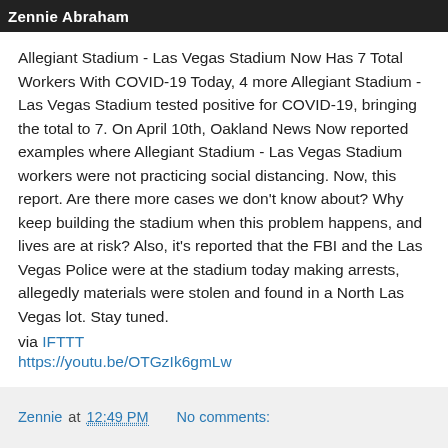Zennie Abraham
Allegiant Stadium - Las Vegas Stadium Now Has 7 Total Workers With COVID-19 Today, 4 more Allegiant Stadium - Las Vegas Stadium tested positive for COVID-19, bringing the total to 7. On April 10th, Oakland News Now reported examples where Allegiant Stadium - Las Vegas Stadium workers were not practicing social distancing. Now, this report. Are there more cases we don't know about? Why keep building the stadium when this problem happens, and lives are at risk? Also, it's reported that the FBI and the Las Vegas Police were at the stadium today making arrests, allegedly materials were stolen and found in a North Las Vegas lot. Stay tuned.
via IFTTT
https://youtu.be/OTGzIk6gmLw
Zennie at 12:49 PM    No comments:
Monday, April 27, 2020
2020 NFL Draft Review Of Best And